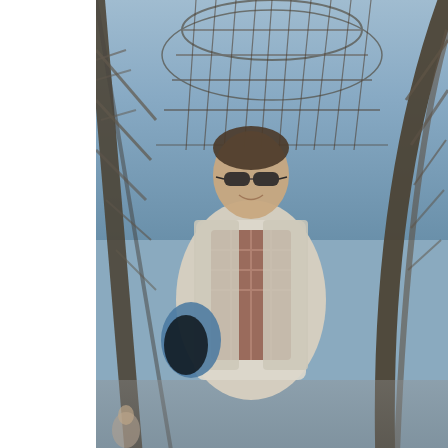[Figure (photo): Young man with sunglasses standing under the Eiffel Tower, wearing a light jacket over a plaid shirt, holding a bag. The iron lattice structure of the Eiffel Tower is visible in the background.]
Kenny Burr '14 under the Eiffel Tower on his study abroad trip to Paris i
During her study abroad stint in China, Peterson was based university in Chengdu. The city of 10 million is one of the mo important economic, financial, commercial, cultural, transpor and communication centers in western China. It is also home famous Chengdu Research Base of Giant Panda Breeding, conservation center where visitors can view endangered gia pandas in a natural habitat.
“I loved Chengdu because it had a lot of traditional Chinese said Peterson. “But here was no way the Thi d